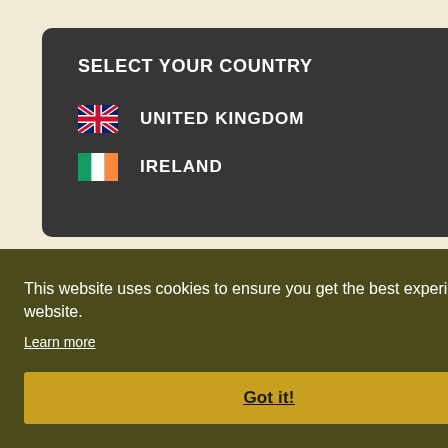[Figure (screenshot): Background page partially visible, showing a cream/beige colored document with blue-grey text fragments including 'Not more than 0', 'Centre-t', numbers '950', '600', 'Per', '38 x 95', '1 389', '1 281', '1 2']
SELECT YOUR COUNTRY
[Figure (illustration): UK flag emoji (Union Jack)]
UNITED KINGDOM
[Figure (illustration): Ireland flag emoji (green white orange tricolor)]
IRELAND
This website uses cookies to ensure you get the best experience on our website.
Learn more
Got it!